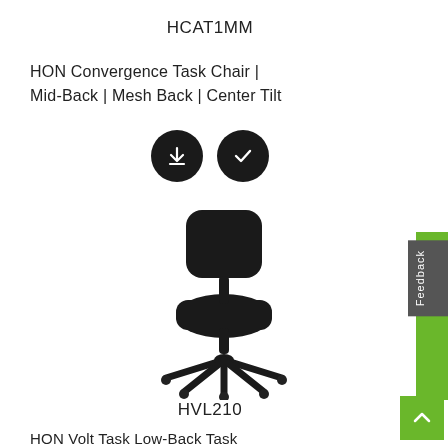HCAT1MM
HON Convergence Task Chair | Mid-Back | Mesh Back | Center Tilt
[Figure (photo): Two circular black buttons: one with a download arrow icon and one with a checkmark icon]
[Figure (photo): Black office task chair with mesh back, padded seat, and five-star base with casters, shown in silhouette]
HVL210
HON Volt Task Low-Back Task...